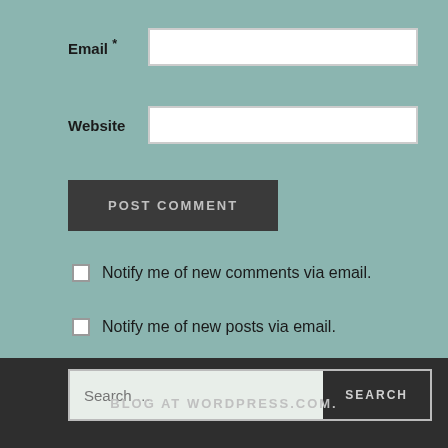Email *
Website
POST COMMENT
Notify me of new comments via email.
Notify me of new posts via email.
Search …
SEARCH
BLOG AT WORDPRESS.COM.